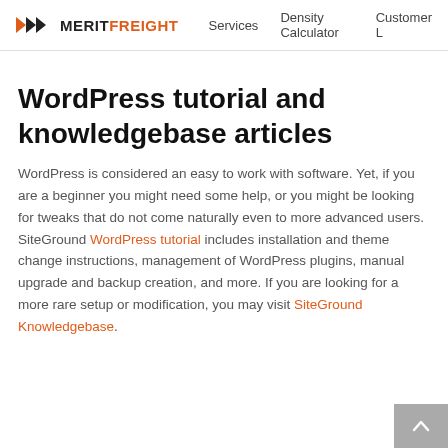MERITFREIGHT  Services  Density Calculator  Customer L
WordPress tutorial and knowledgebase articles
WordPress is considered an easy to work with software. Yet, if you are a beginner you might need some help, or you might be looking for tweaks that do not come naturally even to more advanced users. SiteGround WordPress tutorial includes installation and theme change instructions, management of WordPress plugins, manual upgrade and backup creation, and more. If you are looking for a more rare setup or modification, you may visit SiteGround Knowledgebase.